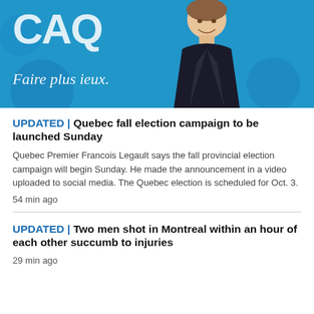[Figure (photo): Photo of Quebec Premier Francois Legault smiling in a dark suit, standing in front of a blue background with text 'Faire plus ...ieux.']
UPDATED | Quebec fall election campaign to be launched Sunday
Quebec Premier Francois Legault says the fall provincial election campaign will begin Sunday. He made the announcement in a video uploaded to social media. The Quebec election is scheduled for Oct. 3.
54 min ago
UPDATED | Two men shot in Montreal within an hour of each other succumb to injuries
29 min ago